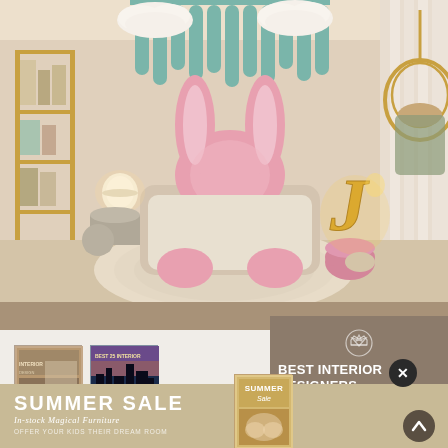[Figure (photo): Children's bedroom interior with bunny-shaped pink bed, cloud pendant lights, teal decorative wall panels, gold shelving, and a rattan hanging chair. A large golden letter J is visible in the center.]
[Figure (photo): Book thumbnail 1 - interior design compilation book]
[Figure (photo): Book thumbnail 2 - Best 25 Interior book with city skyline cover]
BEST INTERIOR DESIGNERS
AROUND THE WORLD
SUMMER SALE
In-stock Magical Furniture
OFFER YOUR KIDS THEIR DREAM ROOM
[Figure (photo): Summer Sale promotional booklet thumbnail]
SHOP NOW
X